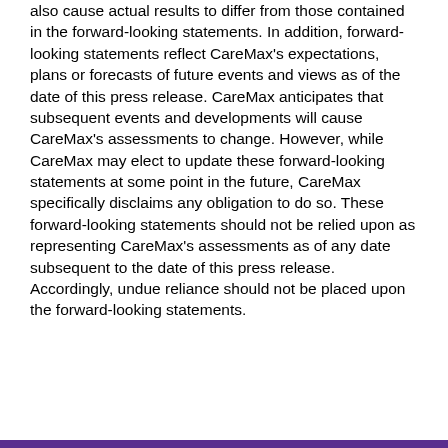also cause actual results to differ from those contained in the forward-looking statements. In addition, forward-looking statements reflect CareMax's expectations, plans or forecasts of future events and views as of the date of this press release. CareMax anticipates that subsequent events and developments will cause CareMax's assessments to change. However, while CareMax may elect to update these forward-looking statements at some point in the future, CareMax specifically disclaims any obligation to do so. These forward-looking statements should not be relied upon as representing CareMax's assessments as of any date subsequent to the date of this press release. Accordingly, undue reliance should not be placed upon the forward-looking statements.